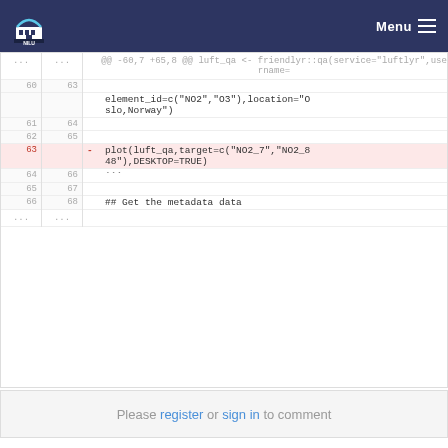NILU Menu
[Figure (screenshot): Code diff viewer showing R code with line numbers. Lines 60-66 are visible with a deleted line 63 highlighted in pink: plot(luft_qa,target=c("NO2_7","NO2_848"),DESKTOP=TRUE). Also shows context lines with element_id=c("NO2","O3"),location="Oslo,Norway") and ## Get the metadata data.]
Please register or sign in to comment